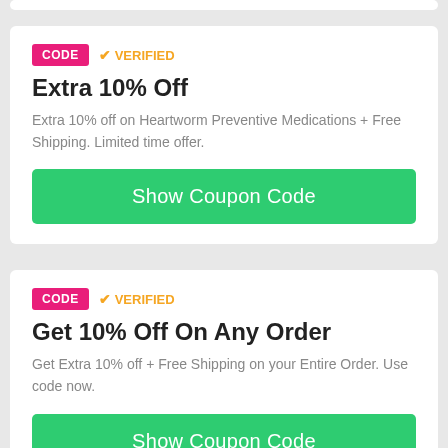CODE  ✓ VERIFIED
Extra 10% Off
Extra 10% off on Heartworm Preventive Medications + Free Shipping. Limited time offer.
Show Coupon Code
CODE  ✓ VERIFIED
Get 10% Off On Any Order
Get Extra 10% off + Free Shipping on your Entire Order. Use code now.
Show Coupon Code